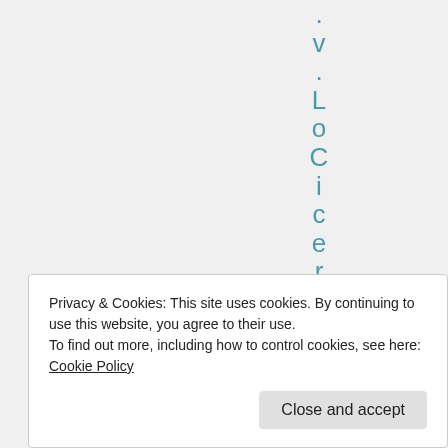.vLoCicero
Detroit's top TV anchor Frank DeFauw
Privacy & Cookies: This site uses cookies. By continuing to use this website, you agree to their use.
To find out more, including how to control cookies, see here: Cookie Policy
Close and accept